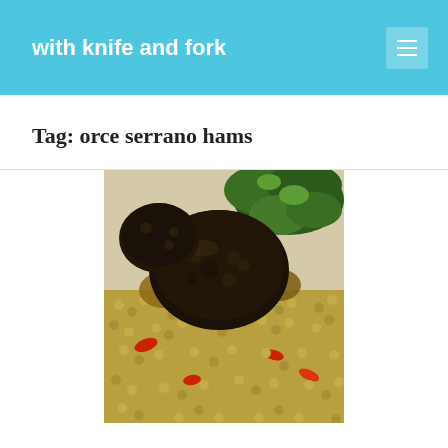with knife and fork
Tag: orce serrano hams
[Figure (photo): Close-up food photo showing dark meatballs or similar dark cooked meat on top of lentils and red peppers, with green leafy vegetables (kale or similar) in the background, on a light surface]